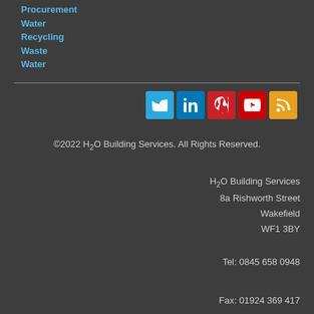Procurement
Water
Recycling
Waste
Water
[Figure (infographic): Social media icons: Twitter (blue), LinkedIn (blue), Pinterest (red), YouTube (red), RSS (orange)]
©2022 H2O Building Services. All Rights Reserved.
H2O Building Services
8a Rishworth Street
Wakefield
WF1 3BY
Tel: 0845 658 0948

Fax: 01924 369 417

Email: info@h2obuildingservices.co.uk